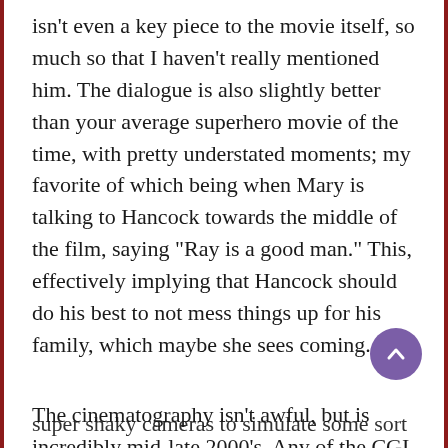isn't even a key piece to the movie itself, so much so that I haven't really mentioned him. The dialogue is also slightly better than your average superhero movie of the time, with pretty understated moments; my favorite of which being when Mary is talking to Hancock towards the middle of the film, saying "Ray is a good man." This, effectively implying that Hancock should do his best to not mess things up for his family, which maybe she sees coming.
The cinematography isn't awful, but is incredibly mid-late 2000's. Any of the CGI with Will Smith flying is kind of laughable, and most of the action sequences are filmed with a super shaky camera to simulate some sort of